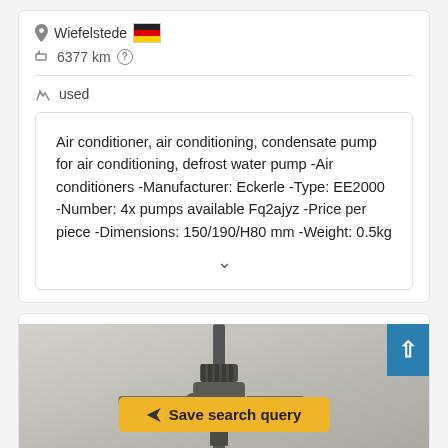Wiefelstede 🇩🇪
6377 km
used
Air conditioner, air conditioning, condensate pump for air conditioning, defrost water pump -Air conditioners -Manufacturer: Eckerle -Type: EE2000 -Number: 4x pumps available Fq2ajyz -Price per piece -Dimensions: 150/190/H80 mm -Weight: 0.5kg
[Figure (photo): Photo of a mechanical pump/condensate pump device against a wall background, with a yellow 'Save search query' button overlay and a blue scroll-up button in the corner.]